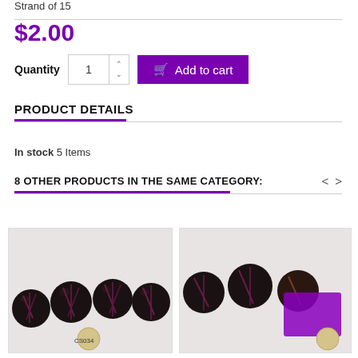Strand of 15
$2.00
Quantity 1 Add to cart
PRODUCT DETAILS
In stock 5 Items
8 OTHER PRODUCTS IN THE SAME CATEGORY:
[Figure (photo): Photo of dark beads on a strand with a coin, labeled CS034]
[Figure (photo): Partial photo of similar dark beads with purple accent]